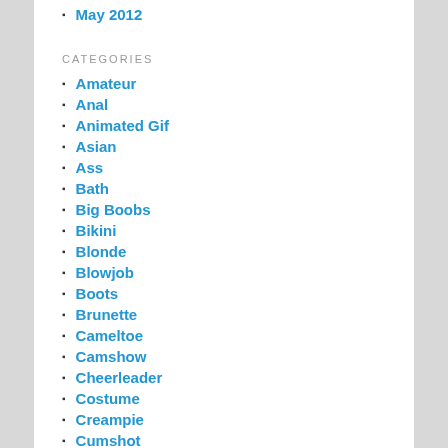May 2012
CATEGORIES
Amateur
Anal
Animated Gif
Asian
Ass
Bath
Big Boobs
Bikini
Blonde
Blowjob
Boots
Brunette
Cameltoe
Camshow
Cheerleader
Costume
Creampie
Cumshot